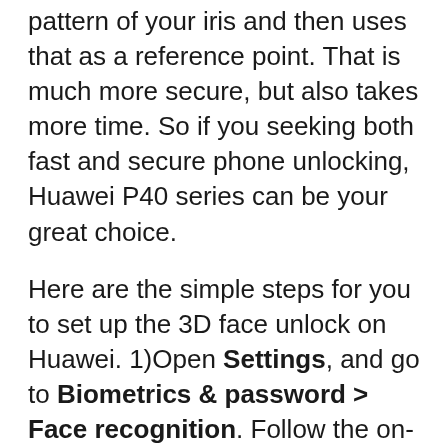pattern of your iris and then uses that as a reference point. That is much more secure, but also takes more time. So if you seeking both fast and secure phone unlocking, Huawei P40 series can be your great choice.
Here are the simple steps for you to set up the 3D face unlock on Huawei. 1)Open Settings, and go to Biometrics & password > Face recognition. Follow the on-screen instructions to enroll your facial data. For a try-out, simply pick up your phone and look directly at the screen. After your phone has recognized you, slide up on the lock screen to unlock. If you go for an even faster unlocking, go to Face recognition > Unlock device and select Direct unlock.